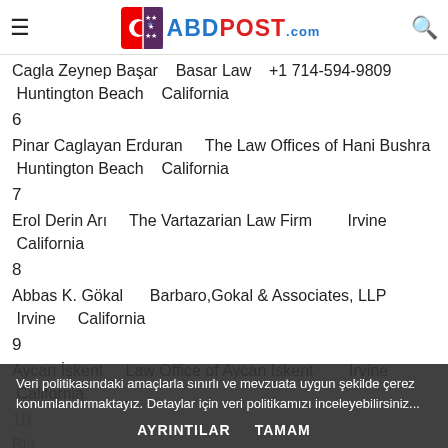ABDPost.com
Cagla Zeynep Başar    Basar Law    +1 714-594-9809 Huntington Beach    California
6
Pinar Caglayan Erduran    The Law Offices of Hani Bushra Huntington Beach    California
7
Erol Derin Arı    The Vartazarian Law Firm        Irvine California
8
Abbas K. Gökal    Barbaro,Gokal & Associates, LLP Irvine    California
9
Aycan İşkent    Law Office of Aycan Iskent        Irvine California
10
Veri politikasındaki amaçlarla sınırlı ve mevzuata uygun şekilde çerez konumlandırmaktayız. Detaylar için veri politikamızı inceleyebilirsiniz...
11
Tclin ak Arabek    Ara...    +1 213-594-5043